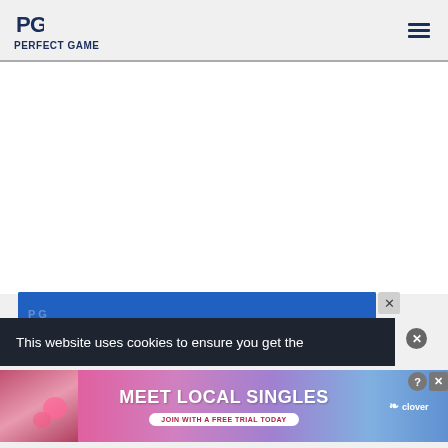PERFECT GAME
[Figure (screenshot): Perfect Game website screenshot showing header with logo and hamburger menu, white content area, and overlaid advertisements including a cookie consent banner reading 'This website uses cookies to ensure you get the' and a dating ad for 'MEET LOCAL SINGLES - JOIN WITH A FREE TRIAL TODAY' by Clover]
This website uses cookies to ensure you get the
[Figure (photo): Dating advertisement: Meet Local Singles - Join with a free trial today - Clover]